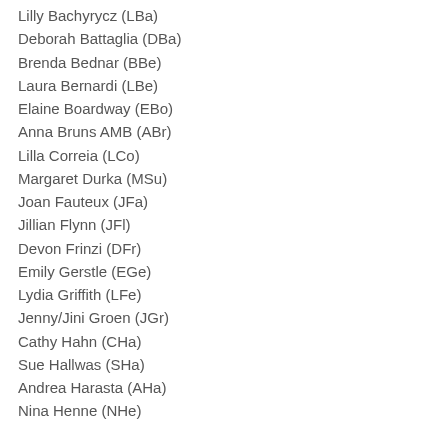Lilly Bachyrycz (LBa)
Deborah Battaglia (DBa)
Brenda Bednar (BBe)
Laura Bernardi (LBe)
Elaine Boardway (EBo)
Anna Bruns AMB (ABr)
Lilla Correia (LCo)
Margaret Durka (MSu)
Joan Fauteux (JFa)
Jillian Flynn (JFl)
Devon Frinzi (DFr)
Emily Gerstle (EGe)
Lydia Griffith (LFe)
Jenny/Jini Groen (JGr)
Cathy Hahn (CHa)
Sue Hallwas (SHa)
Andrea Harasta (AHa)
Nina Henne (NHe)